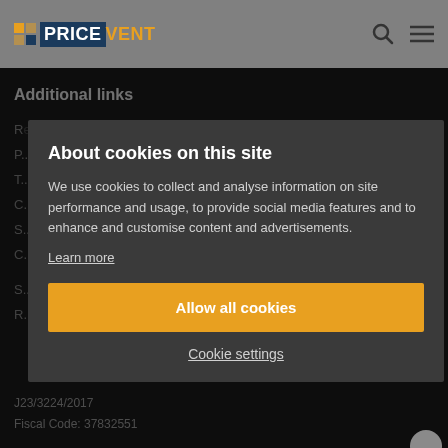PRICEVENT
Additional links
Release Notes
P...
T...
C...
S...
C...
S...
R...
J23/3224/2017
Fiscal Code: 37832551
About cookies on this site
We use cookies to collect and analyse information on site performance and usage, to provide social media features and to enhance and customise content and advertisements.
Learn more
Allow all cookies
Cookie settings